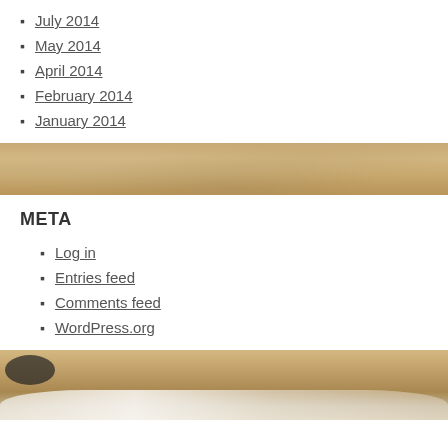July 2014
May 2014
April 2014
February 2014
January 2014
[Figure (photo): Horizontal band showing a sandy/wooden textured surface, beige and tan tones]
META
Log in
Entries feed
Comments feed
WordPress.org
[Figure (photo): Beach scene with sand, ocean wave foam, and dark rocks/seaweed at bottom of image]